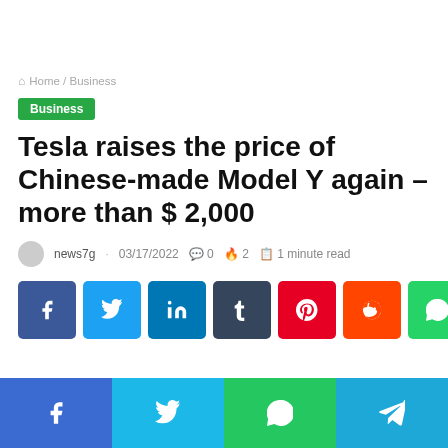Home / Business
Business
Tesla raises the price of Chinese-made Model Y again – more than $ 2,000
news7g · 03/17/2022 · 0 · 2 · 1 minute read
[Figure (other): Social share buttons: Facebook, Twitter, LinkedIn, Tumblr, Pinterest, Reddit, WhatsApp]
Bottom share bar: Facebook, Twitter, WhatsApp, Telegram